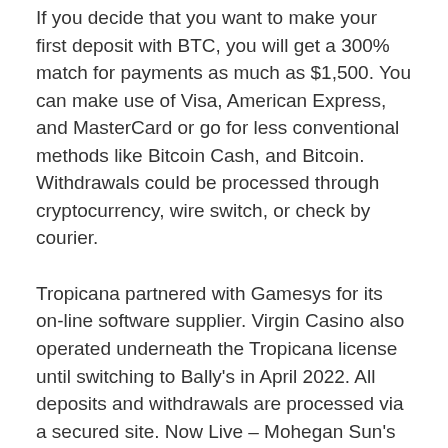If you decide that you want to make your first deposit with BTC, you will get a 300% match for payments as much as $1,500. You can make use of Visa, American Express, and MasterCard or go for less conventional methods like Bitcoin Cash, and Bitcoin. Withdrawals could be processed through cryptocurrency, wire switch, or check by courier.
Tropicana partnered with Gamesys for its on-line software supplier. Virgin Casino also operated underneath the Tropicana license until switching to Bally's in April 2022. All deposits and withdrawals are processed via a secured site. Now Live – Mohegan Sun's cellular app is on the market to both iOS and Android gadgets in addition to a desktop version known as mohegansuncasino.com.
It's not just new gamers who're handled well at top casinos. Existing players have access to rewarding